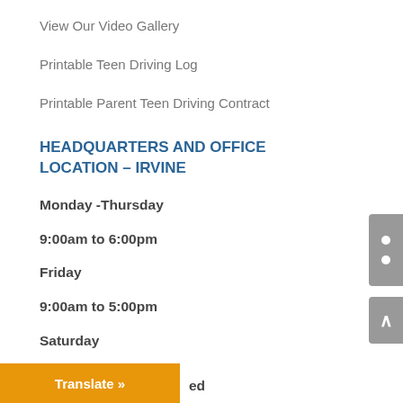View Our Video Gallery
Printable Teen Driving Log
Printable Parent Teen Driving Contract
HEADQUARTERS AND OFFICE LOCATION – IRVINE
Monday -Thursday
9:00am to 6:00pm
Friday
9:00am to 5:00pm
Saturday
ed